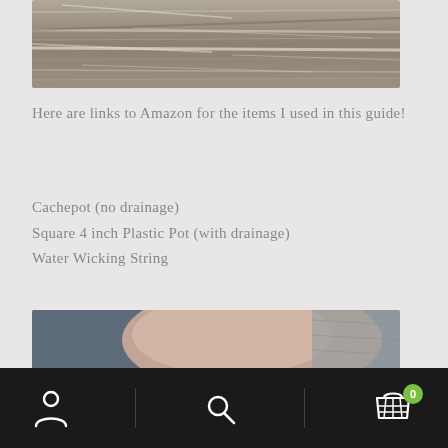[Figure (photo): Close-up of weathered grey wood grain texture, plank detail with white streaks]
Here are links to Amazon for the items I used in this guide!
Cachepot (no drainage)
Square 4 inch Plastic Pot (with drainage)
Water Wicking String
[Figure (photo): Close-up of a hand holding something against a blurred grey background]
[Figure (other): Mobile navigation bar with user icon, search icon, and shopping cart icon with badge showing 0]